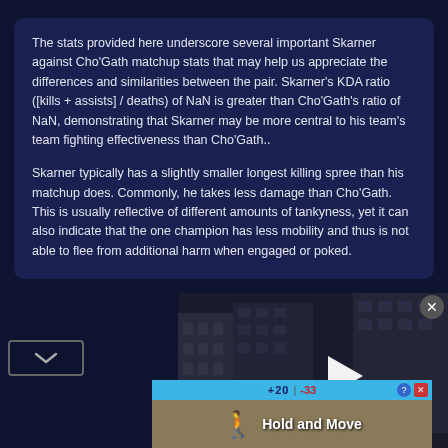The stats provided here underscore several important Skarner against Cho'Gath matchup stats that may help us appreciate the differences and similarities between the pair. Skarner's KDA ratio ([kills + assists] / deaths) of NaN is greater than Cho'Gath's ratio of NaN, demonstrating that Skarner may be more central to his team's team fighting effectiveness than Cho'Gath..
Skarner typically has a slightly smaller longest killing spree than his matchup does. Commonly, he takes less damage than Cho'Gath. This is usually reflective of different amounts of tankyness, yet it can also indicate that the one champion has less mobility and thus is not able to flee from additional harm when engaged or poked.
[Figure (screenshot): Video panel showing a snowy urban street scene with buildings, with a white play button triangle overlay in the center-right area]
[Figure (screenshot): Advertisement banner at bottom showing 'Hold and Move' game ad with blue top bar showing scores +20 and -33, player icon, and close/help buttons]